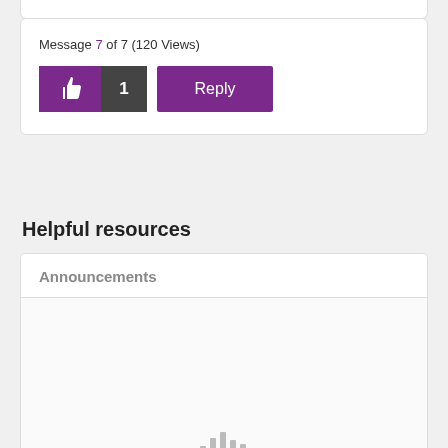Message 7 of 7 (120 Views)
[Figure (screenshot): Like button with thumbs up icon (purple), count badge showing 1 (dark gray), and Reply button (purple)]
Helpful resources
Announcements